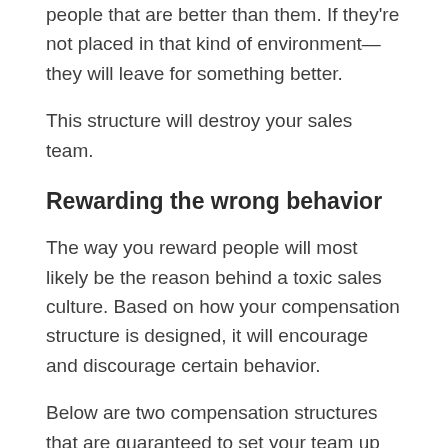people that are better than them. If they're not placed in that kind of environment—they will leave for something better.
This structure will destroy your sales team.
Rewarding the wrong behavior
The way you reward people will most likely be the reason behind a toxic sales culture. Based on how your compensation structure is designed, it will encourage and discourage certain behavior.
Below are two compensation structures that are guaranteed to set your team up for failure.